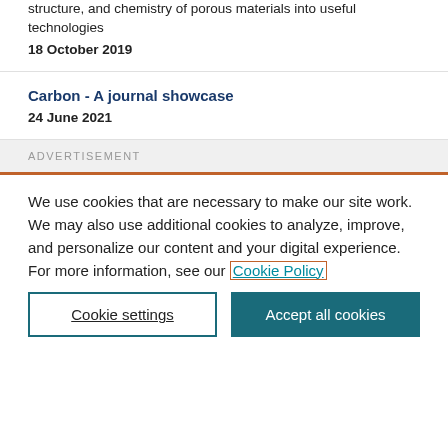structure, and chemistry of porous materials into useful technologies
18 October 2019
Carbon - A journal showcase
24 June 2021
ADVERTISEMENT
We use cookies that are necessary to make our site work. We may also use additional cookies to analyze, improve, and personalize our content and your digital experience. For more information, see our Cookie Policy
Cookie settings
Accept all cookies